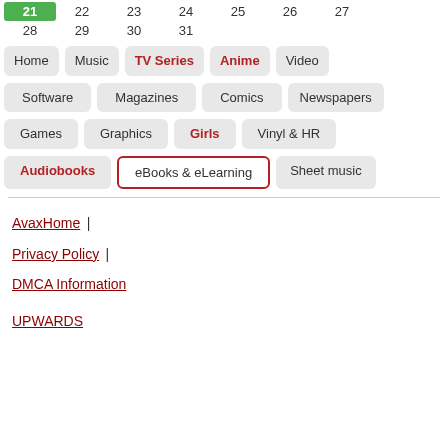21  22  23  24  25  26  27
28  29  30  31
Home
Music
TV Series
Anime
Video
Software
Magazines
Comics
Newspapers
Games
Graphics
Girls
Vinyl & HR
Audiobooks
eBooks & eLearning
Sheet music
AvaxHome | Privacy Policy | DMCA Information
UPWARDS